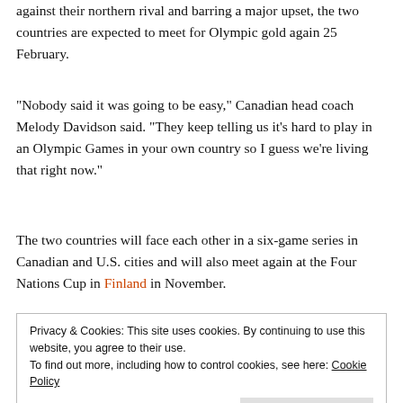against their northern rival and barring a major upset, the two countries are expected to meet for Olympic gold again 25 February.
“Nobody said it was going to be easy,” Canadian head coach Melody Davidson said. “They keep telling us it’s hard to play in an Olympic Games in your own country so I guess we’re living that right now.”
The two countries will face each other in a six-game series in Canadian and U.S. cities and will also meet again at the Four Nations Cup in Finland in November.
Privacy & Cookies: This site uses cookies. By continuing to use this website, you agree to their use.
To find out more, including how to control cookies, see here: Cookie Policy
[Close and accept]